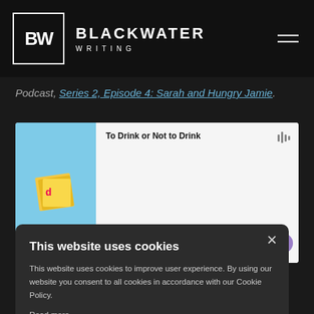BLACKWATER WRITING
Podcast, Series 2, Episode 4: Sarah and Hungry Jamie.
[Figure (screenshot): Podcast embed player showing 'To Drink or Not to Drink' with book cover thumbnail]
Connell
e in all good
This website uses cookies
This website uses cookies to improve user experience. By using our website you consent to all cookies in accordance with our Cookie Policy.
Read more
ACCEPT ALL
DECLINE ALL
SHOW DETAILS